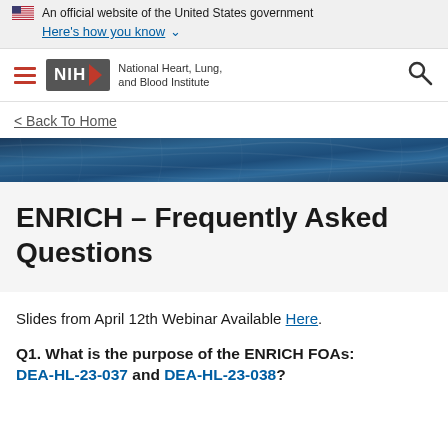An official website of the United States government
Here's how you know ∨
[Figure (logo): NIH National Heart, Lung, and Blood Institute logo with hamburger menu and search icon]
< Back To Home
[Figure (photo): Blue textured banner image]
ENRICH – Frequently Asked Questions
Slides from April 12th Webinar Available Here.
Q1. What is the purpose of the ENRICH FOAs: DEA-HL-23-037 and DEA-HL-23-038?